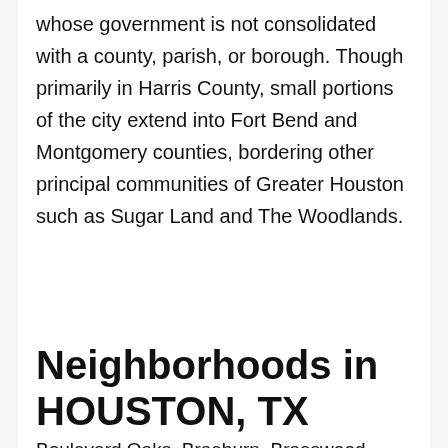whose government is not consolidated with a county, parish, or borough. Though primarily in Harris County, small portions of the city extend into Fort Bend and Montgomery counties, bordering other principal communities of Greater Houston such as Sugar Land and The Woodlands.
Neighborhoods in HOUSTON, TX
Boulevard Oaks, Braeburn, Braeswood Place, Brentwood, Brooke Smith, Central Northwest, City Park, Cleveland, Crestwood/Glen Cove,